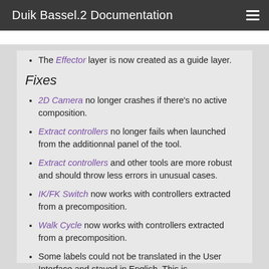Duik Bassel.2 Documentation
The Effector layer is now created as a guide layer.
Fixes
2D Camera no longer crashes if there's no active composition.
Extract controllers no longer fails when launched from the additionnal panel of the tool.
Extract controllers and other tools are more robust and should throw less errors in unusual cases.
IK/FK Switch now works with controllers extracted from a precomposition.
Walk Cycle now works with controllers extracted from a precomposition.
Some labels could not be translated in the User Interface and stayed in English. This is